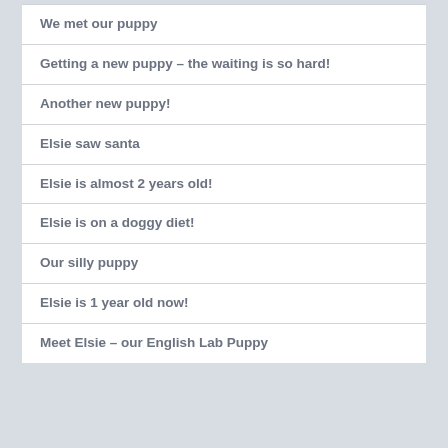We met our puppy
Getting a new puppy – the waiting is so hard!
Another new puppy!
Elsie saw santa
Elsie is almost 2 years old!
Elsie is on a doggy diet!
Our silly puppy
Elsie is 1 year old now!
Meet Elsie – our English Lab Puppy